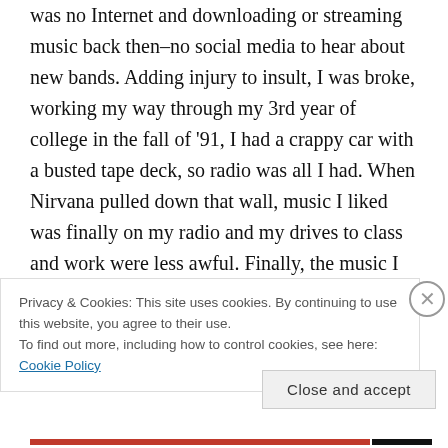was no Internet and downloading or streaming music back then–no social media to hear about new bands. Adding injury to insult, I was broke, working my way through my 3rd year of college in the fall of '91, I had a crappy car with a busted tape deck, so radio was all I had. When Nirvana pulled down that wall, music I liked was finally on my radio and my drives to class and work were less awful. Finally, the music I liked was accessible! Lots of people howled when the underground went mainstream–certain bands weren't
Privacy & Cookies: This site uses cookies. By continuing to use this website, you agree to their use.
To find out more, including how to control cookies, see here: Cookie Policy
Close and accept